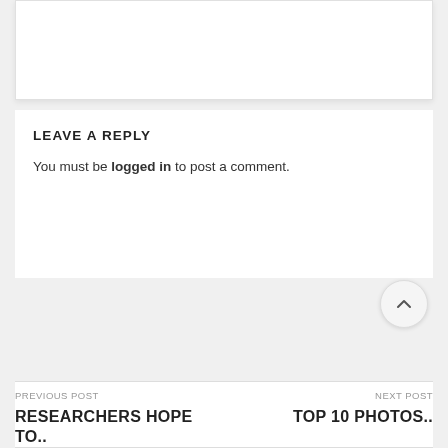LEAVE A REPLY
You must be logged in to post a comment.
PREVIOUS POST
RESEARCHERS HOPE TO..
NEXT POST
TOP 10 PHOTOS..